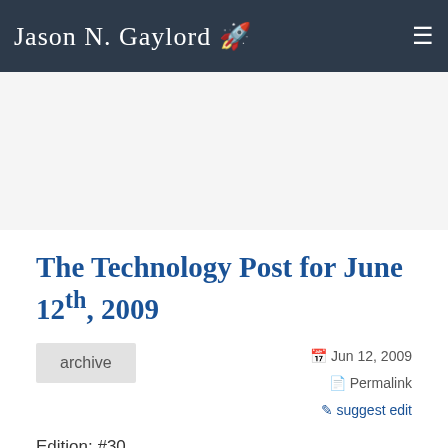Jason N. Gaylord 🚀
[Figure (other): Advertisement / empty ad space block]
The Technology Post for June 12th, 2009
archive
Jun 12, 2009  Permalink  suggest edit
Edition: #30
Read More